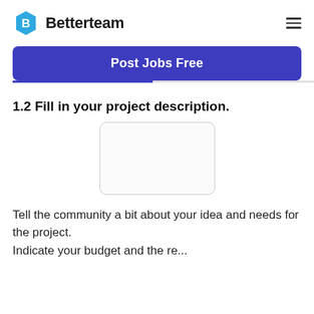Betterteam
[Figure (logo): Betterteam logo: blue hexagon badge with white B, followed by bold text 'Betterteam']
Post Jobs Free
1.2 Fill in your project description.
[Figure (screenshot): Empty text area input box with rounded corners and light gray border]
Tell the community a bit about your idea and needs for the project.
Indicate your budget and the re...